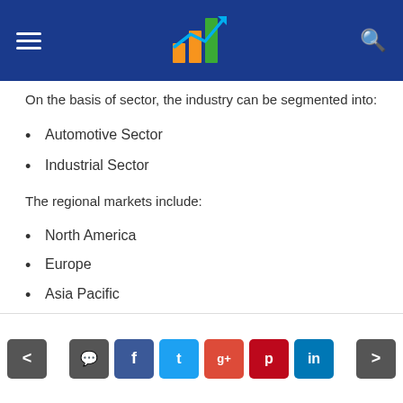On the basis of sector, the industry can be segmented into:
Automotive Sector
Industrial Sector
The regional markets include:
North America
Europe
Asia Pacific
Latin America
Middle East and Afric
< [comment] [f] [t] [g+] [pinterest] [in] >